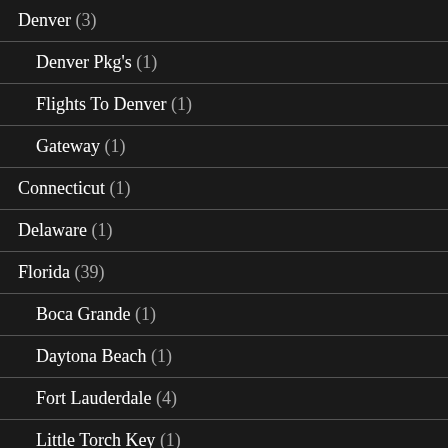Denver (3)
Denver Pkg's (1)
Flights To Denver (1)
Gateway (1)
Connecticut (1)
Delaware (1)
Florida (39)
Boca Grande (1)
Daytona Beach (1)
Fort Lauderdale (4)
Little Torch Key (1)
Miami (9)
Flights To Miami (1)